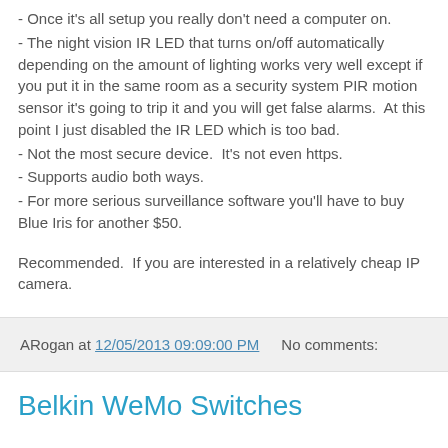- Once it's all setup you really don't need a computer on.
- The night vision IR LED that turns on/off automatically depending on the amount of lighting works very well except if you put it in the same room as a security system PIR motion sensor it's going to trip it and you will get false alarms.  At this point I just disabled the IR LED which is too bad.
- Not the most secure device.  It's not even https.
- Supports audio both ways.
- For more serious surveillance software you'll have to buy Blue Iris for another $50.
Recommended.  If you are interested in a relatively cheap IP camera.
ARogan at 12/05/2013 09:09:00 PM    No comments:
Belkin WeMo Switches